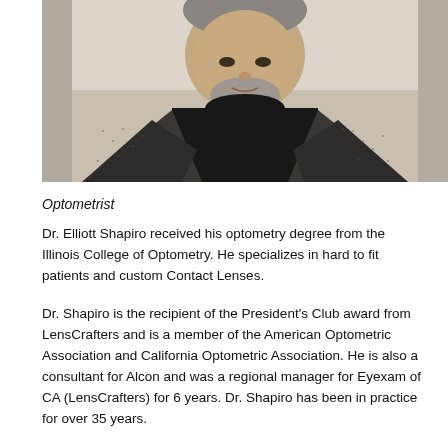[Figure (photo): Headshot of Dr. Elliott Shapiro, a middle-aged man with gray stubble beard, wearing a black turtleneck and dark plaid blazer, with a light background.]
Optometrist
Dr. Elliott Shapiro received his optometry degree from the Illinois College of Optometry. He specializes in hard to fit patients and custom Contact Lenses.
Dr. Shapiro is the recipient of the President's Club award from LensCrafters and is a member of the American Optometric Association and California Optometric Association. He is also a consultant for Alcon and was a regional manager for Eyexam of CA (LensCrafters) for 6 years. Dr. Shapiro has been in practice for over 35 years.